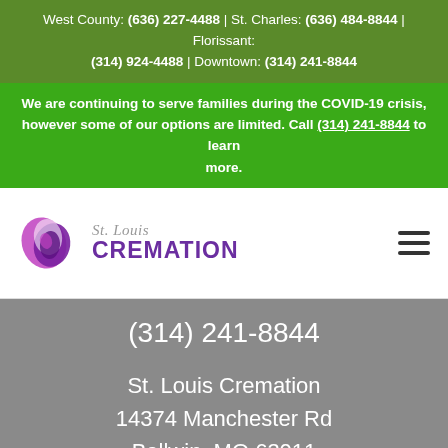West County: (636) 227-4488 | St. Charles: (636) 484-8844 | Florissant: (314) 924-4488 | Downtown: (314) 241-8844
We are continuing to serve families during the COVID-19 crisis, however some of our options are limited. Call (314) 241-8844 to learn more.
[Figure (logo): St. Louis Cremation logo with purple heart/swirl icon and text]
(314) 241-8844
St. Louis Cremation
14374 Manchester Rd
Ballwin, MO 63011
(636) 227-4488